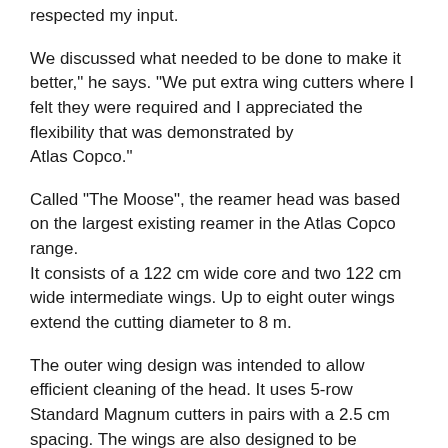respected my input.
We discussed what needed to be done to make it better," he says. "We put extra wing cutters where I felt they were required and I appreciated the flexibility that was demonstrated by Atlas Copco."
Called "The Moose", the reamer head was based on the largest existing reamer in the Atlas Copco range. It consists of a 122 cm wide core and two 122 cm wide intermediate wings. Up to eight outer wings extend the cutting diameter to 8 m.
The outer wing design was intended to allow efficient cleaning of the head. It uses 5-row Standard Magnum cutters in pairs with a 2.5 cm spacing. The wings are also designed to be removed to make underground transport easier and can be operated with as few as four wings. Raisebore discovered that six wings was the best option for keeping the head clear of rock